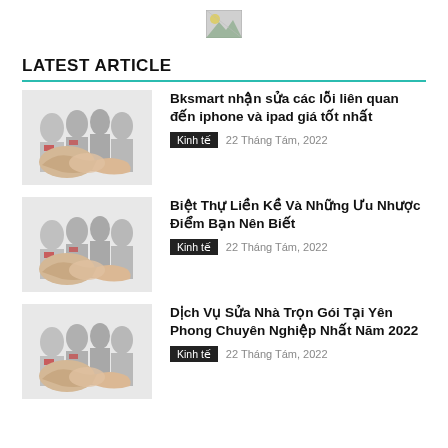[Figure (logo): Small logo image placeholder at top center]
LATEST ARTICLE
Bksmart nhận sửa các lỗi liên quan đến iphone và ipad giá tốt nhất | Kinh tế | 22 Tháng Tám, 2022
Biệt Thự Liền Kề Và Những Ưu Nhược Điểm Bạn Nên Biết | Kinh tế | 22 Tháng Tám, 2022
Dịch Vụ Sửa Nhà Trọn Gói Tại Yên Phong Chuyên Nghiệp Nhất Năm 2022 | Kinh tế | 22 Tháng Tám, 2022